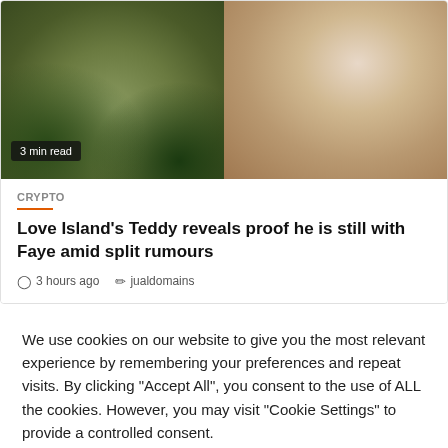[Figure (photo): Two-panel image: left panel shows a garden/yard with dry grass and green plants from above; right panel shows a smiling Black man lying down, selfie-style photo]
3 min read
CRYPTO
Love Island's Teddy reveals proof he is still with Faye amid split rumours
3 hours ago   jualdomains
We use cookies on our website to give you the most relevant experience by remembering your preferences and repeat visits. By clicking "Accept All", you consent to the use of ALL the cookies. However, you may visit "Cookie Settings" to provide a controlled consent.
Cookie Settings   Accept All